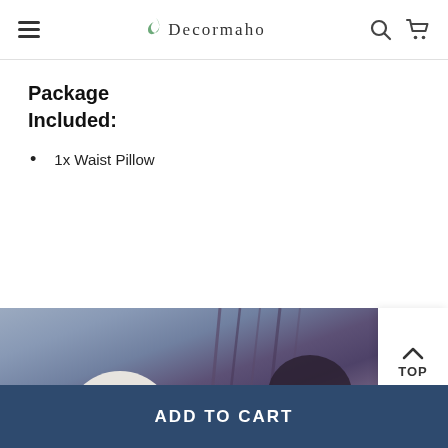Decormaho
Package Included:
1x Waist Pillow
[Figure (photo): Product photo showing a pillow with decorative background, partially visible at bottom of page]
ADD TO CART